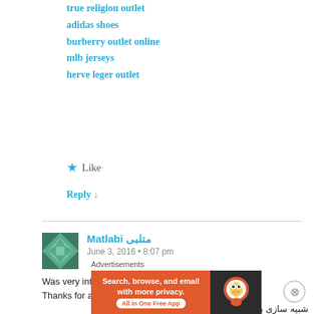true religion outlet
adidas shoes
burberry outlet online
mlb jerseys
herve leger outlet
★ Like
Reply ↓
Matlabi متلبی
June 3, 2016 • 8:07 pm
Was very interesting, thanks for share
Thanks for a best post
شبیه سازی با متلب، متلبی، http://www.matlabi.ir/ ,
متلب گروپ، http://www.matlabi.ir/order-matlab-project/ ,
پروژه متلب، http://matlabgroup1.blogfa.com/
Advertisements
Search, browse, and email with more privacy. All in One Free App